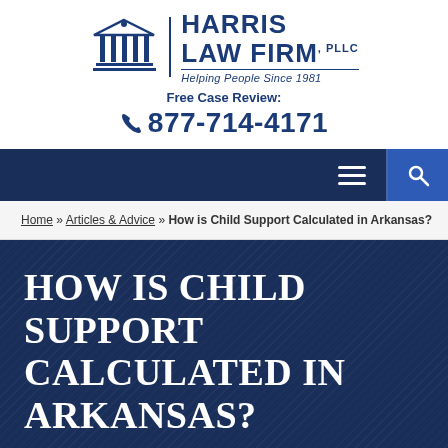[Figure (logo): Harris Law Firm PLLC logo with courthouse columns icon, tagline: Helping People Since 1981]
Free Case Review:
☎ 877-714-4171
[Figure (other): Dark navy navigation bar with hamburger menu icon and search icon]
Home » Articles & Advice » How is Child Support Calculated in Arkansas?
HOW IS CHILD SUPPORT CALCULATED IN ARKANSAS?